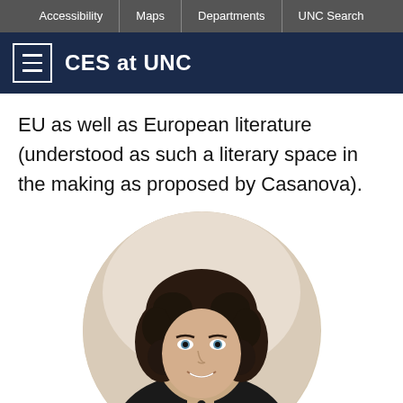Accessibility | Maps | Departments | UNC Search
CES at UNC
EU as well as European literature (understood as such a literary space in the making as proposed by Casanova).
[Figure (photo): Circular headshot of a young woman with curly dark hair, blue eyes, wearing a black jacket and black beaded necklace, smiling at the camera.]